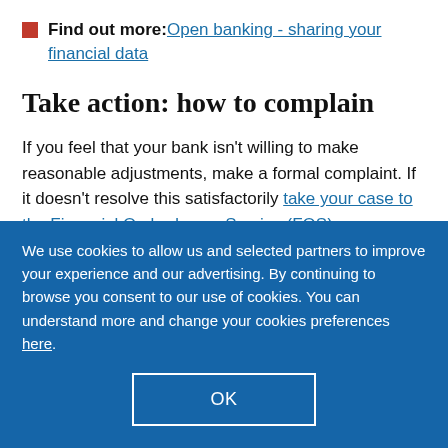Find out more: Open banking - sharing your financial data
Take action: how to complain
If you feel that your bank isn't willing to make reasonable adjustments, make a formal complaint. If it doesn't resolve this satisfactorily take your case to the Financial Ombudsman Service (FOS).
We use cookies to allow us and selected partners to improve your experience and our advertising. By continuing to browse you consent to our use of cookies. You can understand more and change your cookies preferences here.
OK